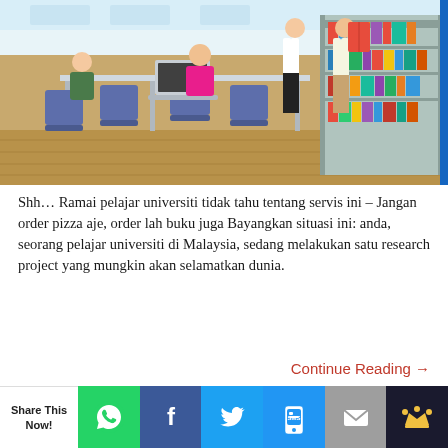[Figure (photo): Students studying in a university library. Several students sit at tables with laptops and books. Two people stand near a bookshelf in the background, one holding an open book.]
Shh… Ramai pelajar universiti tidak tahu tentang servis ini – Jangan order pizza aje, order lah buku juga Bayangkan situasi ini: anda, seorang pelajar universiti di Malaysia, sedang melakukan satu research project yang mungkin akan selamatkan dunia.
Continue Reading →
Ahmad Zaid in Articles | October 11, 2017 | 699 Words
Share This Now!